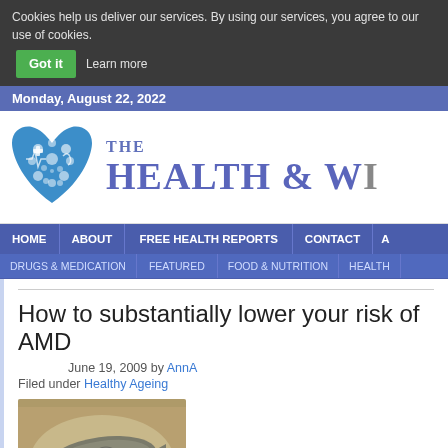Cookies help us deliver our services. By using our services, you agree to our use of cookies.  Got it  Learn more
Monday, August 22, 2022
[Figure (logo): The Health & Wellness website logo with blue heart made of health icons and serif text 'THE HEALTH & W...']
HOME | ABOUT | FREE HEALTH REPORTS | CONTACT | A
DRUGS & MEDICATION | FEATURED | FOOD & NUTRITION | HEALTH
How to substantially lower your risk of AMD
June 19, 2009 by AnnA
Filed under Healthy Ageing
[Figure (photo): A plate of cooked fish (sardines or similar) with vegetables]